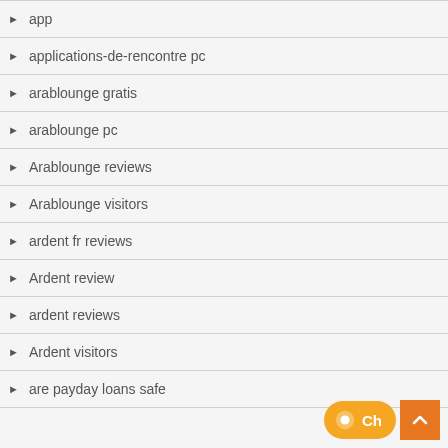app
applications-de-rencontre pc
arablounge gratis
arablounge pc
Arablounge reviews
Arablounge visitors
ardent fr reviews
Ardent review
ardent reviews
Ardent visitors
are payday loans safe